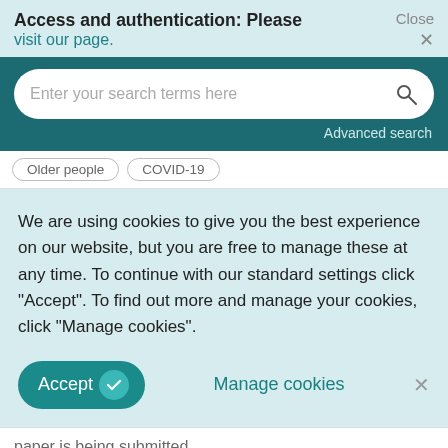Access and authentication: Please visit our page.
Close ×
[Figure (screenshot): Search bar with placeholder text 'Enter your search terms here' and a magnifying glass icon, on a dark teal background, with 'Advanced search' link below]
Older people   COVID-19
We are using cookies to give you the best experience on our website, but you are free to manage these at any time. To continue with our standard settings click "Accept". To find out more and manage your cookies, click "Manage cookies".
Accept  ✓   Manage cookies  ×
paper is being submitted.